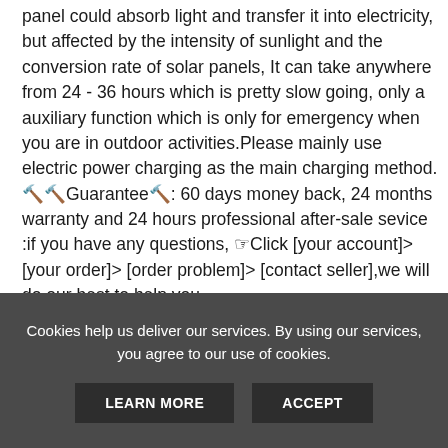panel could absorb light and transfer it into electricity, but affected by the intensity of sunlight and the conversion rate of solar panels, It can take anywhere from 24 - 36 hours which is pretty slow going, only a auxiliary function which is only for emergency when you are in outdoor activities.Please mainly use electric power charging as the main charging method. 🔋🔋Guarantee🔋: 60 days money back, 24 months warranty and 24 hours professional after-sale sevice :if you have any questions, ☛Click [your account]> [your order]> [order problem]> [contact seller],we will do our best to help you.
Customer Reviews
Cookies help us deliver our services. By using our services, you agree to our use of cookies.
LEARN MORE    ACCEPT